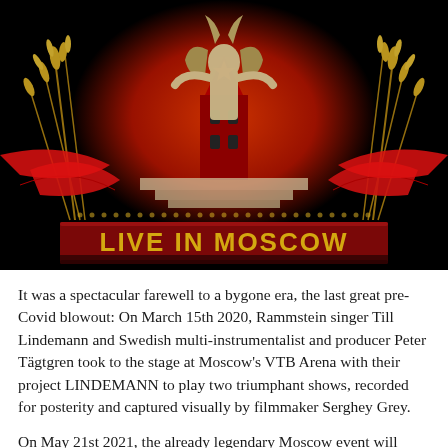[Figure (illustration): Concert poster for 'Live in Moscow' featuring a stylized Soviet-style illustration with a figure in the center, red Kremlin tower, golden wheat sheaves on both sides, red ribbons/banners, and the text 'LIVE IN MOSCOW' in gold letters on a dark red banner against a black background.]
It was a spectacular farewell to a bygone era, the last great pre-Covid blowout: On March 15th 2020, Rammstein singer Till Lindemann and Swedish multi-instrumentalist and producer Peter Tägtgren took to the stage at Moscow's VTB Arena with their project LINDEMANN to play two triumphant shows, recorded for posterity and captured visually by filmmaker Serghey Grey.
On May 21st 2021, the already legendary Moscow event will